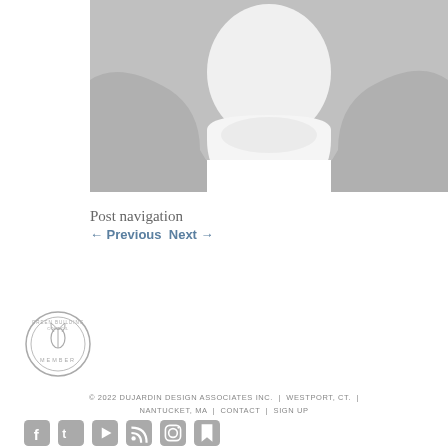[Figure (photo): Placeholder silhouette photo of a person, greyed out with white background blending into a person outline]
Post navigation
← Previous  Next →
[Figure (logo): Circular member badge logo with leaf/plant design and text MEMBER around border]
© 2022 DUJARDIN DESIGN ASSOCIATES INC.  |  WESTPORT, CT.  |  NANTUCKET, MA  |  CONTACT  |  SIGN UP
[Figure (infographic): Row of social media icons: Facebook, Twitter, YouTube, RSS, Instagram, and a share icon]